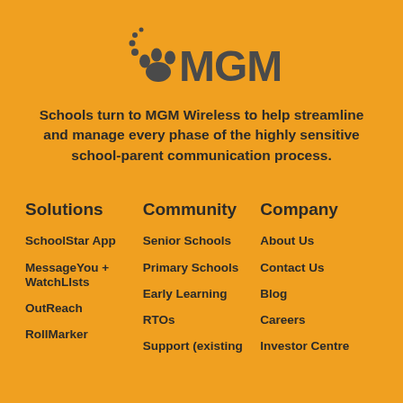[Figure (logo): MGM Wireless logo with paw print icon and bold MGM text in dark gray]
Schools turn to MGM Wireless to help streamline and manage every phase of the highly sensitive school-parent communication process.
Solutions
Community
Company
SchoolStar App
Senior Schools
About Us
MessageYou + WatchLIsts
Primary Schools
Contact Us
Early Learning
Blog
OutReach
RTOs
Careers
RollMarker
Support (existing
Investor Centre